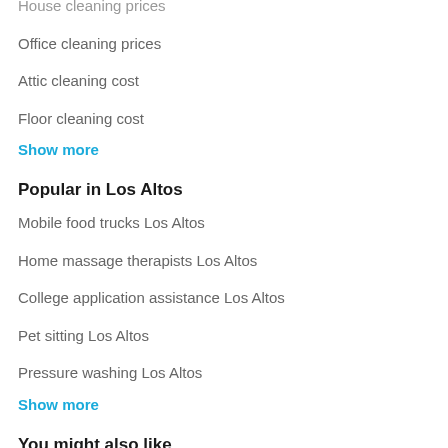House cleaning prices
Office cleaning prices
Attic cleaning cost
Floor cleaning cost
Show more
Popular in Los Altos
Mobile food trucks Los Altos
Home massage therapists Los Altos
College application assistance Los Altos
Pet sitting Los Altos
Pressure washing Los Altos
Show more
You might also like
Commercial office cleaning services near me
Commercial cleaning near me